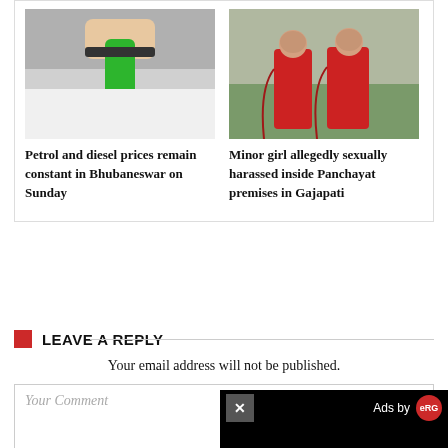[Figure (photo): Hand holding a green petrol/diesel pump nozzle into a car fuel tank]
Petrol and diesel prices remain constant in Bhubaneswar on Sunday
[Figure (photo): Two people in red traditional attire standing outside, faces blurred]
Minor girl allegedly sexually harassed inside Panchayat premises in Gajapati
LEAVE A REPLY
Your email address will not be published.
Your Comment